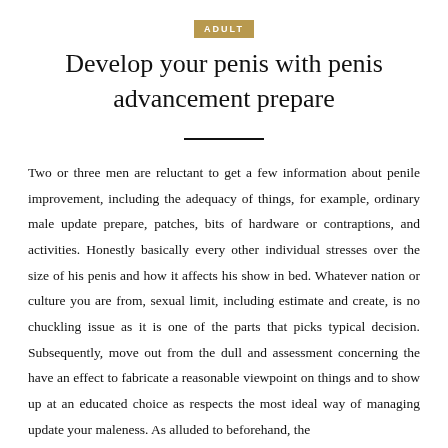ADULT
Develop your penis with penis advancement prepare
Two or three men are reluctant to get a few information about penile improvement, including the adequacy of things, for example, ordinary male update prepare, patches, bits of hardware or contraptions, and activities. Honestly basically every other individual stresses over the size of his penis and how it affects his show in bed. Whatever nation or culture you are from, sexual limit, including estimate and create, is no chuckling issue as it is one of the parts that picks typical decision. Subsequently, move out from the dull and assessment concerning the have an effect to fabricate a reasonable viewpoint on things and to show up at an educated choice as respects the most ideal way of managing update your maleness. As alluded to beforehand, the